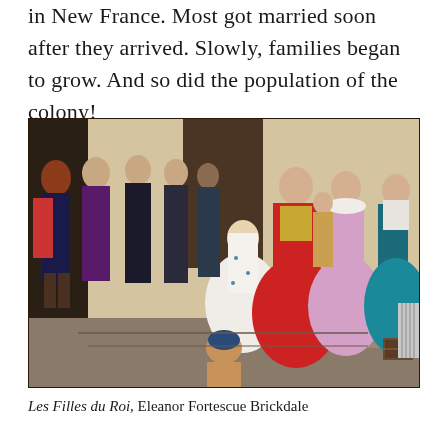in New France. Most got married soon after they arrived. Slowly, families began to grow. And so did the population of the colony!
[Figure (illustration): A historical painting depicting Les Filles du Roi (The King's Daughters) arriving in New France. The scene shows a group of elegantly dressed women in 17th-century French attire, accompanied by men in period clothing. A shirtless figure is visible in the foreground at the bottom, sitting on stone steps. The women wear colorful gowns in red, white, pink, and teal.]
Les Filles du Roi, Eleanor Fortescue Brickdale